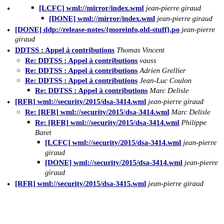[LCFC] wml://mirror/index.wml jean-pierre giraud
[DONE] wml://mirror/index.wml jean-pierre giraud
[DONE] ddp://release-notes/{moreinfo,old-stuff}.po jean-pierre giraud
DDTSS : Appel à contributions Thomas Vincent
Re: DDTSS : Appel à contributions vauss
Re: DDTSS : Appel à contributions Adrien Grellier
Re: DDTSS : Appel à contributions Jean-Luc Coulon
Re: DDTSS : Appel à contributions Marc Delisle
[RFR] wml://security/2015/dsa-3414.wml jean-pierre giraud
Re: [RFR] wml://security/2015/dsa-3414.wml Marc Delisle
Re: [RFR] wml://security/2015/dsa-3414.wml Philippe Baret
[LCFC] wml://security/2015/dsa-3414.wml jean-pierre giraud
[DONE] wml://security/2015/dsa-3414.wml jean-pierre giraud
[RFR] wml://security/2015/dsa-3415.wml jean-pierre giraud